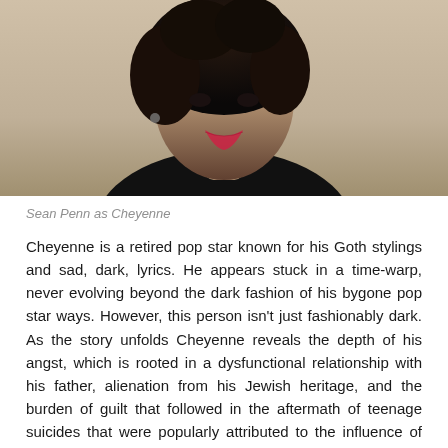[Figure (photo): Sean Penn as Cheyenne — a person with dark, disheveled hair, pale skin, wearing dark clothing and lipstick, smiling slightly at the camera against a light background.]
Sean Penn as Cheyenne
Cheyenne is a retired pop star known for his Goth stylings and sad, dark, lyrics. He appears stuck in a time-warp, never evolving beyond the dark fashion of his bygone pop star ways. However, this person isn't just fashionably dark. As the story unfolds Cheyenne reveals the depth of his angst, which is rooted in a dysfunctional relationship with his father, alienation from his Jewish heritage, and the burden of guilt that followed in the aftermath of teenage suicides that were popularly attributed to the influence of his art.
Cheyenne is ripe, and long overdue, for redemption, and coming of age. The death of his unloving father leaves him